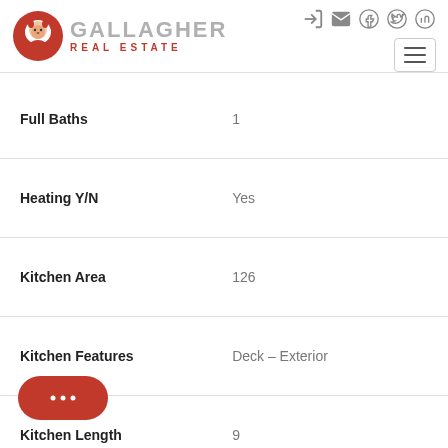Gallagher Real Estate
| Property | Value |
| --- | --- |
| Full Baths | 1 |
| Heating Y/N | Yes |
| Kitchen Area | 126 |
| Kitchen Features | Deck – Exterior |
| Kitchen Length | 9 |
| Kitchen Level | Main |
| Kitchen Width | 14 |
| Laundry Features | Electric Dryer Hookup, |